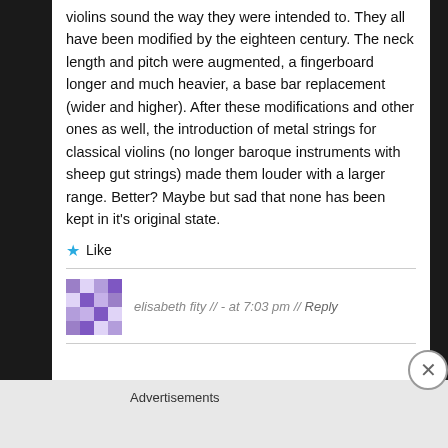violins sound the way they were intended to. They all have been modified by the eighteen century. The neck length and pitch were augmented, a fingerboard longer and much heavier, a base bar replacement (wider and higher). After these modifications and other ones as well, the introduction of metal strings for classical violins (no longer baroque instruments with sheep gut strings) made them louder with a larger range. Better? Maybe but sad that none has been kept in it's original state.
★ Like
elisabeth fity // - at 7:03 pm // Reply
Advertisements